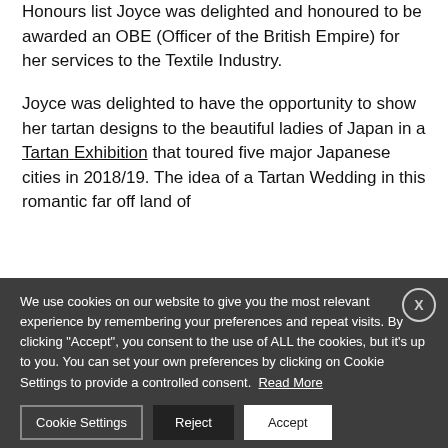Honours list Joyce was delighted and honoured to be awarded an OBE (Officer of the British Empire) for her services to the Textile Industry.
Joyce was delighted to have the opportunity to show her tartan designs to the beautiful ladies of Japan in a Tartan Exhibition that toured five major Japanese cities in 2018/19. The idea of a Tartan Wedding in this romantic far off land of
We use cookies on our website to give you the most relevant experience by remembering your preferences and repeat visits. By clicking "Accept", you consent to the use of ALL the cookies, but it's up to you. You can set your own preferences by clicking on Cookie Settings to provide a controlled consent. Read More